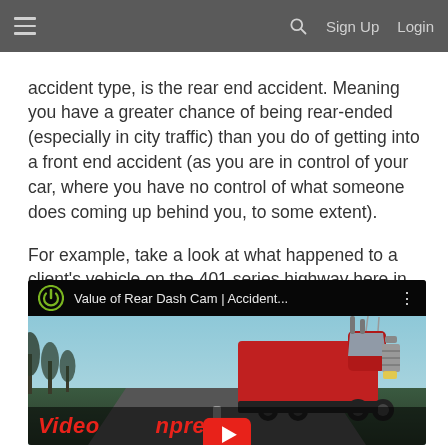≡  🔍  Sign Up  Login
accident type, is the rear end accident. Meaning you have a greater chance of being rear-ended (especially in city traffic) than you do of getting into a front end accident (as you are in control of your car, where you have no control of what someone does coming up behind you, to some extent).
For example, take a look at what happened to a client's vehicle on the 401 series highway here in Ontario, Canada (watch the video below):
[Figure (screenshot): Embedded YouTube video thumbnail showing a red semi-truck on a highway. Video title reads 'Value of Rear Dash Cam | Accident...' with a YouTube power/logo icon and three-dot menu. Bottom overlay shows red italic text 'Video' and partial 'npres...' with YouTube play button.]